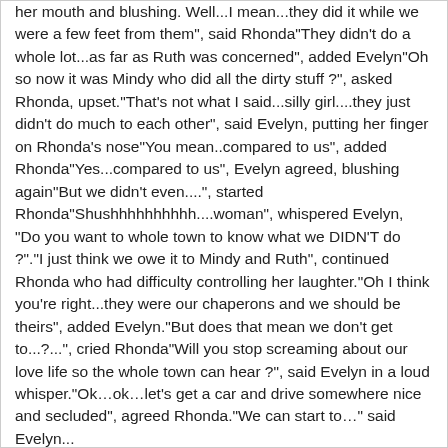her mouth and blushing. Well...I mean...they did it while we were a few feet from them", said Rhonda"They didn't do a whole lot...as far as Ruth was concerned", added Evelyn"Oh so now it was Mindy who did all the dirty stuff ?", asked Rhonda, upset.“That’s not what I said...silly girl....they just didn't do much to each other", said Evelyn, putting her finger on Rhonda’s nose"You mean..compared to us", added Rhonda"Yes...compared to us", Evelyn agreed, blushing again"But we didn’t even....", started Rhonda"Shushhhhhhhhhh....woman", whispered Evelyn, “Do you want to whole town to know what we DIDN’T do ?".“I just think we owe it to Mindy and Ruth", continued Rhonda who had difficulty controlling her laughter.“Oh I think you’re right...they were our chaperons and we should be theirs", added Evelyn.“But does that mean we don’t get to...?...", cried Rhonda"Will you stop screaming about our love life so the whole town can hear ?", said Evelyn in a loud whisper.“Ok...ok...let’s get a car and drive somewhere nice and secluded", agreed Rhonda.“We can start to...” said Evelyn...